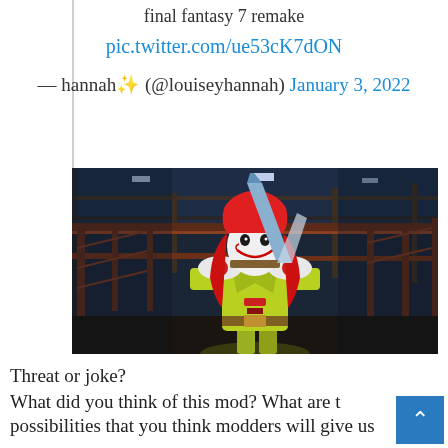final fantasy 7 remake
pic.twitter.com/ue53cK7dON
— hannah✨ (@louiseyhannah) January 3, 2022
[Figure (screenshot): Screenshot from Final Fantasy 7 Remake mod showing a character wearing a Ronald McDonald costume with red hair, white face mask, and yellow-green suit, holding a large sword, standing in an industrial-looking area.]
Threat or joke?
What did you think of this mod? What are the possibilities that you think modders will give us